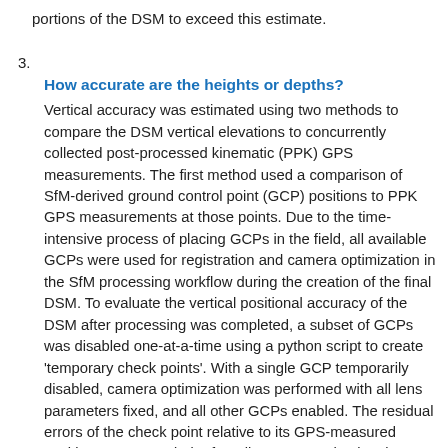portions of the DSM to exceed this estimate.
3. How accurate are the heights or depths?
Vertical accuracy was estimated using two methods to compare the DSM vertical elevations to concurrently collected post-processed kinematic (PPK) GPS measurements. The first method used a comparison of SfM-derived ground control point (GCP) positions to PPK GPS measurements at those points. Due to the time-intensive process of placing GCPs in the field, all available GCPs were used for registration and camera optimization in the SfM processing workflow during the creation of the final DSM. To evaluate the vertical positional accuracy of the DSM after processing was completed, a subset of GCPs was disabled one-at-a-time using a python script to create 'temporary check points'. With a single GCP temporarily disabled, camera optimization was performed with all lens parameters fixed, and all other GCPs enabled. The residual errors of the check point relative to its GPS-measured position were recorded. After all temporary check point iterations were complete, the root-mean-square error (RMSE) and mean-absolute error (MAE) were calculated. For the Puget Creek DSM, the vertical RMSE was 0.033